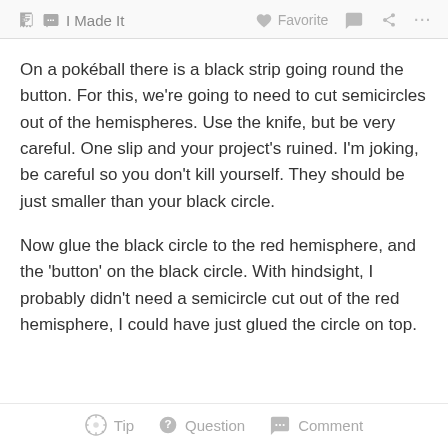I Made It   Favorite   ...
On a pokéball there is a black strip going round the button. For this, we're going to need to cut semicircles out of the hemispheres. Use the knife, but be very careful. One slip and your project's ruined. I'm joking, be careful so you don't kill yourself. They should be just smaller than your black circle.
Now glue the black circle to the red hemisphere, and the 'button' on the black circle. With hindsight, I probably didn't need a semicircle cut out of the red hemisphere, I could have just glued the circle on top.
Tip   Question   Comment